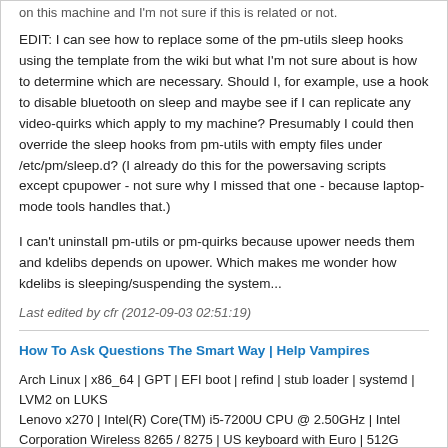on this machine and I'm not sure if this is related or not.
EDIT: I can see how to replace some of the pm-utils sleep hooks using the template from the wiki but what I'm not sure about is how to determine which are necessary. Should I, for example, use a hook to disable bluetooth on sleep and maybe see if I can replicate any video-quirks which apply to my machine? Presumably I could then override the sleep hooks from pm-utils with empty files under /etc/pm/sleep.d? (I already do this for the powersaving scripts except cpupower - not sure why I missed that one - because laptop-mode tools handles that.)
I can't uninstall pm-utils or pm-quirks because upower needs them and kdelibs depends on upower. Which makes me wonder how kdelibs is sleeping/suspending the system...
Last edited by cfr (2012-09-03 02:51:19)
How To Ask Questions The Smart Way | Help Vampires
Arch Linux | x86_64 | GPT | EFI boot | refind | stub loader | systemd | LVM2 on LUKS
Lenovo x270 | Intel(R) Core(TM) i5-7200U CPU @ 2.50GHz | Intel Corporation Wireless 8265 / 8275 | US keyboard with Euro | 512G NVMe INTEL SSDPEKKF512G7L